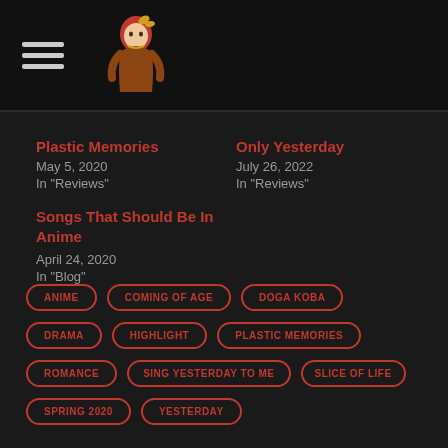Navigation header with hamburger menu and logo
Plastic Memories
May 5, 2020
In "Reviews"
Only Yesterday
July 26, 2022
In "Reviews"
Songs That Should Be In Anime
April 24, 2020
In "Blog"
ANIME
COMING OF AGE
DOGA KOBA
DRAMA
HIGHLIGHT
PLASTIC MEMORIES
ROMANCE
SING YESTERDAY TO ME
SLICE OF LIFE
SPRING 2020
YESTERDAY